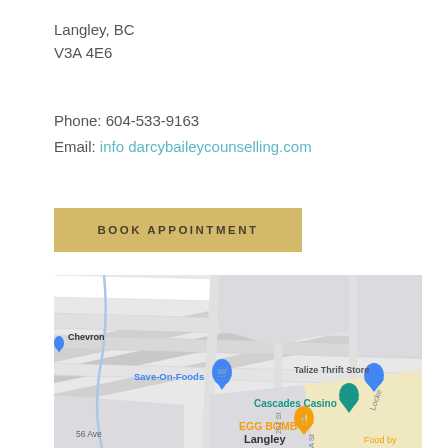Langley, BC
V3A 4E6
Phone: 604-533-9163
Email: info darcybaileycounselling.com
BOOK APPOINTMENT
[Figure (map): Google Maps screenshot showing Langley, BC area with landmarks: Chevron, Save-On-Foods, Talize Thrift Store, Cascades Casino, EGG BOMB restaurant, and street labels including 201 St, 56 Ave, Locke. Bottom label shows 'Langley' and 'Food by'.]